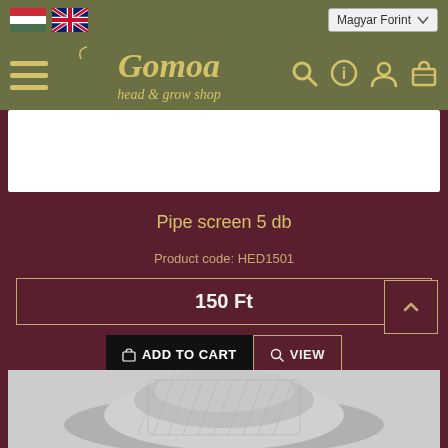Gomoa head & grow shop — Magyar Forint
Pipe screen 5 db
Product code: HED1501
150 Ft
ADD TO CART  VIEW
[Figure (photo): Product image of next item, shown partially at the bottom]